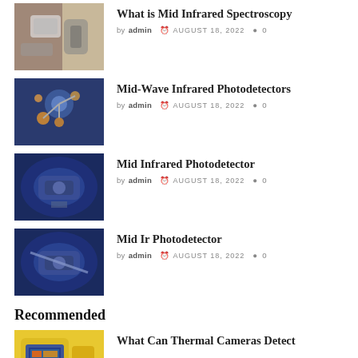[Figure (photo): Thumbnail image of a scientific spectrometer device on a desk]
What is Mid Infrared Spectroscopy
by admin  AUGUST 18, 2022  0
[Figure (photo): Thumbnail image of molecular/crystal structure with blue background]
Mid-Wave Infrared Photodetectors
by admin  AUGUST 18, 2022  0
[Figure (photo): Thumbnail image of a scientific instrument in blue-lit chamber]
Mid Infrared Photodetector
by admin  AUGUST 18, 2022  0
[Figure (photo): Thumbnail image of a scientific instrument in blue-lit chamber]
Mid Ir Photodetector
by admin  AUGUST 18, 2022  0
Recommended
[Figure (photo): Thumbnail image of a yellow thermal camera device]
What Can Thermal Cameras Detect